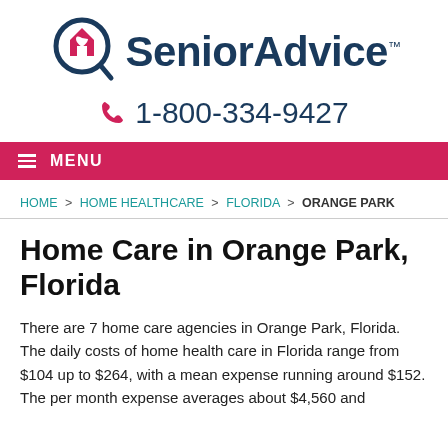SeniorAdvice™
1-800-334-9427
≡ MENU
HOME > HOME HEALTHCARE > FLORIDA > ORANGE PARK
Home Care in Orange Park, Florida
There are 7 home care agencies in Orange Park, Florida. The daily costs of home health care in Florida range from $104 up to $264, with a mean expense running around $152. The per month expense averages about $4,560 and